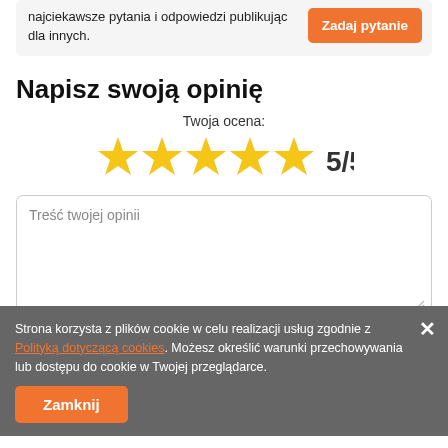najciekawsze pytania i odpowiedzi publikując dla innych.
Zadaj pytanie
Napisz swoją opinię
Twoja ocena:
[Figure (infographic): Five gold stars rating with text 5/5]
Treść twojej opinii
Strona korzysta z plików cookie w celu realizacji usług zgodnie z Polityką dotyczącą cookies. Możesz określić warunki przechowywania lub dostępu do cookie w Twojej przeglądarce.
Zamknij